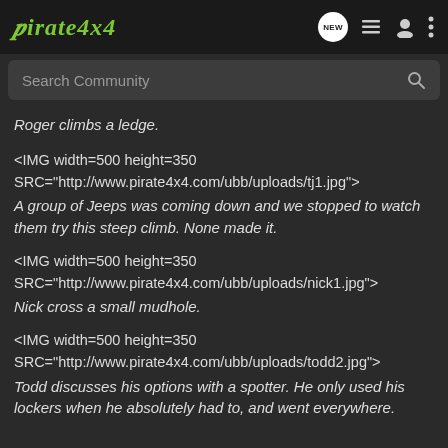Pirate4x4
Search Community
Roger climbs a ledge.
<IMG width=500 height=350 SRC="http://www.pirate4x4.com/ubb/uploads/tj1.jpg">
A group of Jeeps was coming down and we stopped to watch them try this steep climb. None made it.
<IMG width=500 height=350 SRC="http://www.pirate4x4.com/ubb/uploads/nick1.jpg">
Nick cross a small mudhole.
<IMG width=500 height=350 SRC="http://www.pirate4x4.com/ubb/uploads/todd2.jpg">
Todd discusses his options with a spotter. He only used his lockers when he absolutely had to, and went everywhere.